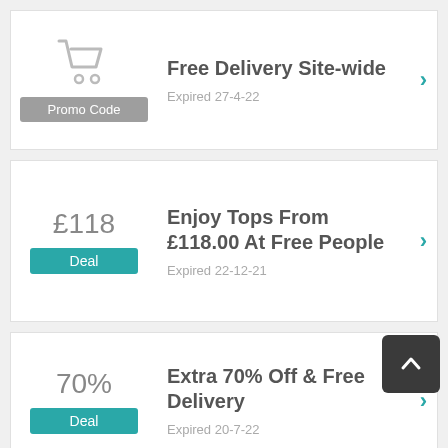[Figure (illustration): Shopping cart icon in grey above a grey 'Promo Code' badge]
Free Delivery Site-wide
Expired 27-4-22
£118
Deal
Enjoy Tops From £118.00 At Free People
Expired 22-12-21
70%
Deal
Extra 70% Off & Free Delivery
Expired 20-7-22